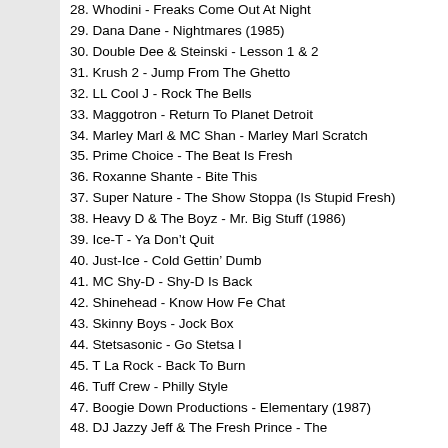28. Whodini - Freaks Come Out At Night
29. Dana Dane - Nightmares (1985)
30. Double Dee & Steinski - Lesson 1 & 2
31. Krush 2 - Jump From The Ghetto
32. LL Cool J - Rock The Bells
33. Maggotron - Return To Planet Detroit
34. Marley Marl & MC Shan - Marley Marl Scratch
35. Prime Choice - The Beat Is Fresh
36. Roxanne Shante - Bite This
37. Super Nature - The Show Stoppa (Is Stupid Fresh)
38. Heavy D & The Boyz - Mr. Big Stuff (1986)
39. Ice-T - Ya Don't Quit
40. Just-Ice - Cold Gettin' Dumb
41. MC Shy-D - Shy-D Is Back
42. Shinehead - Know How Fe Chat
43. Skinny Boys - Jock Box
44. Stetsasonic - Go Stetsa I
45. T La Rock - Back To Burn
46. Tuff Crew - Philly Style
47. Boogie Down Productions - Elementary (1987)
48. DJ Jazzy Jeff & The Fresh Prince - The